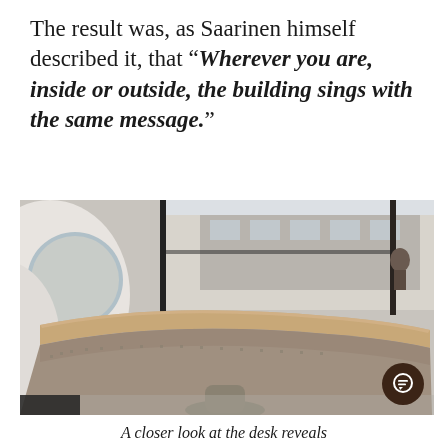The result was, as Saarinen himself described it, that "Wherever you are, inside or outside, the building sings with the same message."
[Figure (photo): Interior photo of the TWA Hotel at JFK showing a curved, organic reception desk made of stone/mosaic with a wood top, with large windows behind showing an airport terminal and parking structure. Circular openings in white curved walls are visible on the left.]
A closer look at the desk reveals